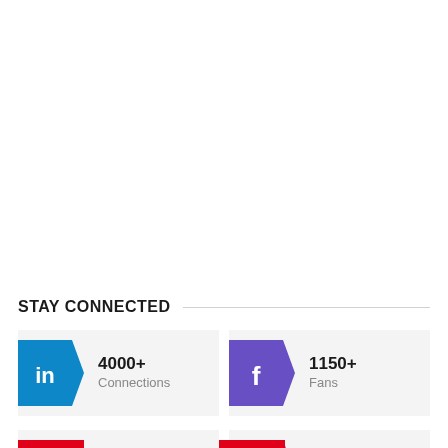STAY CONNECTED
[Figure (infographic): Four social media stat boxes: LinkedIn 4000+ Connections, Facebook 1150+ Fans, Twitter 45+ Followers, Instagram 150+ Followers]
4000+ Connections
1150+ Fans
45+ Followers
150+ Followers